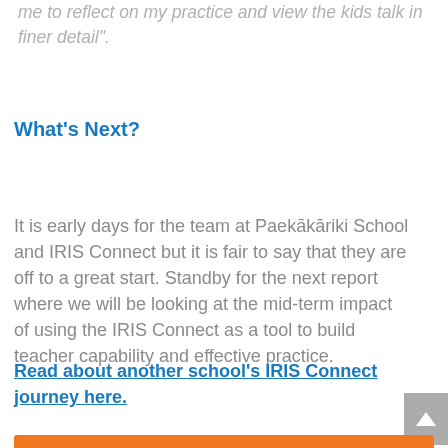me to reflect on my practice and view the kids talk in finer detail".
What’s Next?
It is early days for the team at Paekākāriki School and IRIS Connect but it is fair to say that they are off to a great start. Standby for the next report where we will be looking at the mid-term impact of using the IRIS Connect as a tool to build teacher capability and effective practice.
Read about another school’s IRIS Connect journey here.